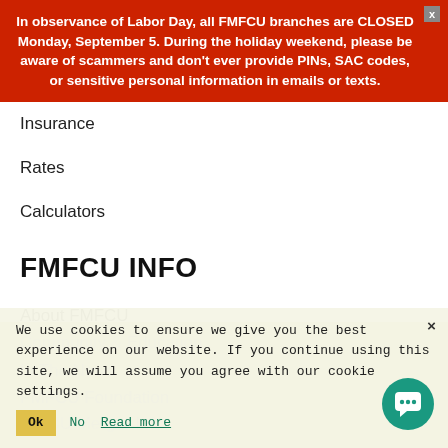In observance of Labor Day, all FMFCU branches are CLOSED Monday, September 5. During the holiday weekend, please be aware of scammers and don't ever provide PINs, SAC codes, or sensitive personal information in emails or texts.
Insurance
Rates
Calculators
FMFCU INFO
About FMFCU
Business Partners
Careers At FMFCU
Community & Education
In The News
FMFCU Foundation
WECU Merger Info
We use cookies to ensure we give you the best experience on our website. If you continue using this site, we will assume you agree with our cookie settings.